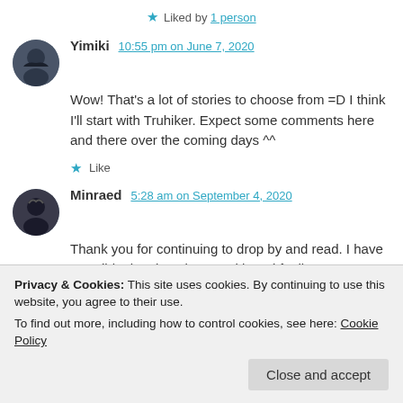★ Liked by 1 person
Yimiki 10:55 pm on June 7, 2020
Wow! That's a lot of stories to choose from =D I think I'll start with Truhiker. Expect some comments here and there over the coming days ^^
★ Like
Minraed 5:28 am on September 4, 2020
Thank you for continuing to drop by and read. I have a terrible time keeping up with and feeling
Privacy & Cookies: This site uses cookies. By continuing to use this website, you agree to their use.
To find out more, including how to control cookies, see here: Cookie Policy
Close and accept